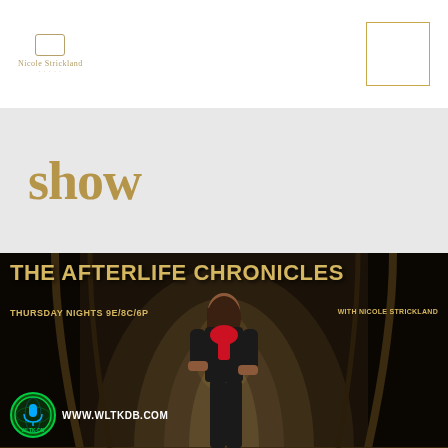[Figure (logo): Nicole Strickland logo with small TV/monitor icon above text]
[Figure (other): Empty gold-bordered square box in top right corner (navigation or menu box)]
show
[Figure (photo): The Afterlife Chronicles promotional poster showing a woman in black outfit with red scarf standing in a dark arched hallway. Text reads: THE AFTERLIFE CHRONICLES, THURSDAY NIGHTS 9E/8C/6P, WITH NICOLE STRICKLAND, WLTK-DB, WWW.WLTKDB.COM]